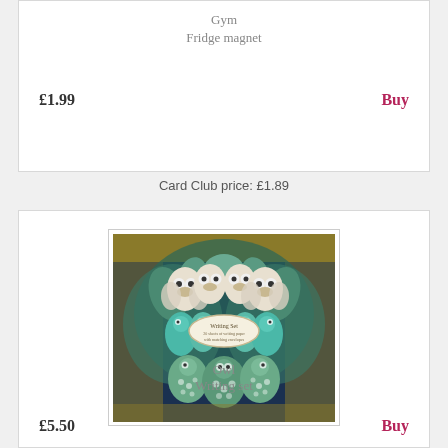Gym
Fridge magnet
£1.99
Buy
Card Club price: £1.89
[Figure (illustration): Owl Writing Set box with decorative illustration showing owls and birds in blue, teal, green and gold colours on dark background]
Owl
Writing set
£5.50
Buy